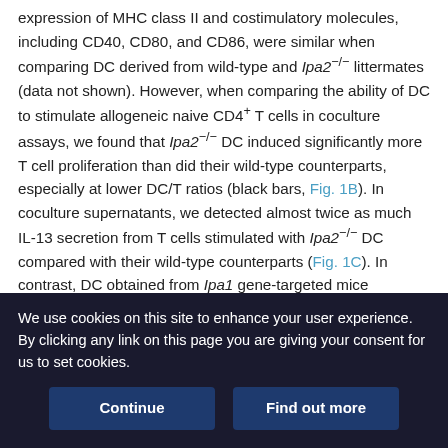expression of MHC class II and costimulatory molecules, including CD40, CD80, and CD86, were similar when comparing DC derived from wild-type and Ipa2−/− littermates (data not shown). However, when comparing the ability of DC to stimulate allogeneic naive CD4+ T cells in coculture assays, we found that Ipa2−/− DC induced significantly more T cell proliferation than did their wild-type counterparts, especially at lower DC/T ratios (black bars, Fig. 1B). In coculture supernatants, we detected almost twice as much IL-13 secretion from T cells stimulated with Ipa2−/− DC compared with their wild-type counterparts (Fig. 1C). In contrast, DC obtained from Ipa1 gene-targeted mice behaved similarly to wild-type mice in these assays (gray bars, Fig. 1). Pretreating DC with the LPA1/3 antagonist Ki16425 had no effect
We use cookies on this site to enhance your user experience. By clicking any link on this page you are giving your consent for us to set cookies.